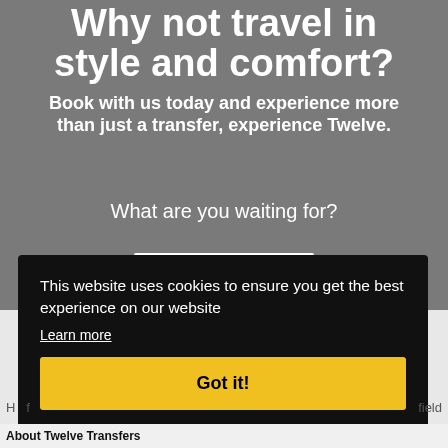Why not travel in style and comfort?
Book with us today and experience more than just a transfer, experience Twelve.
What are you waiting for?
This website uses cookies to ensure you get the best experience on our website
Learn more
Got it!
field
About Twelve Transfers